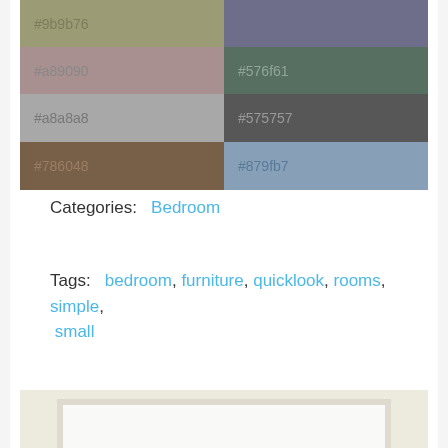[Figure (other): Color palette swatches in a 4-row, 2-column grid showing hex color codes: row1: #9b9b76 (olive/grey), #6e6e8a (muted purple); row2: #a89090 (dusty rose), #576f61 (muted teal); row3: #a8a8a8 (light grey), #575757 (dark grey); row4: #786048 (brown), #879fb7 (steel blue)]
Categories:  Bedroom
Tags:  bedroom, furniture, quicklook, rooms, simple, small
[Figure (other): Preview image area showing a beige/cream background with a white inner panel - partial view of a room preview]